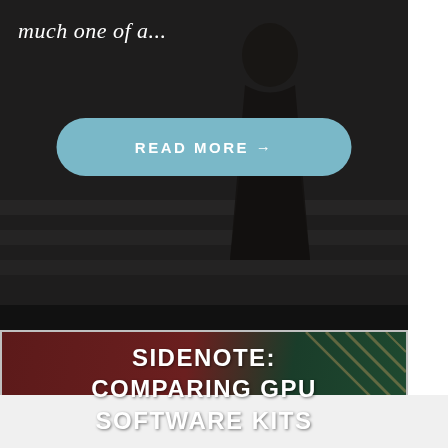much one of a...
READ MORE →
SIDENOTE: COMPARING GPU SOFTWARE KITS
Advertisements
SKIP THIS AD